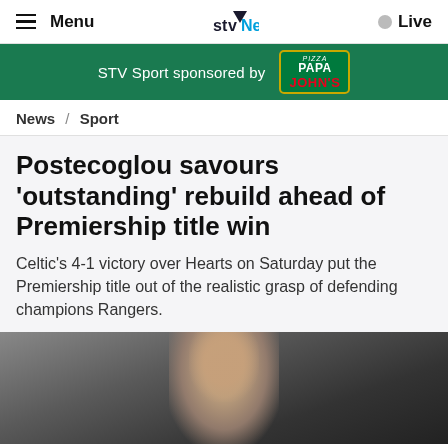Menu  STV News  Live
[Figure (logo): STV News logo with hamburger menu and Live button]
[Figure (infographic): STV Sport sponsored by Papa John's - green banner with Papa John's pizza logo]
News / Sport
Postecoglou savours 'outstanding' rebuild ahead of Premiership title win
Celtic's 4-1 victory over Hearts on Saturday put the Premiership title out of the realistic grasp of defending champions Rangers.
[Figure (photo): Photo of Ange Postecoglou, partially visible, dark background]